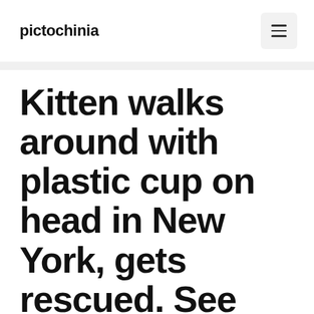pictochinia
Kitten walks around with plastic cup on head in New York, gets rescued. See pics | Trending